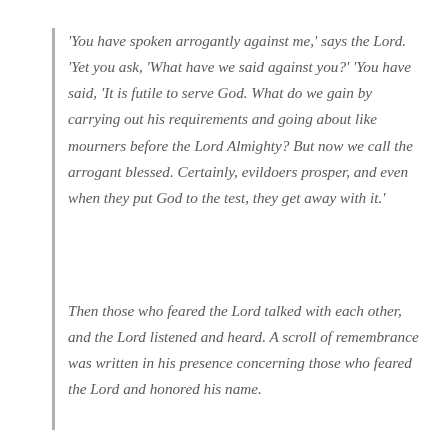'You have spoken arrogantly against me,' says the Lord. 'Yet you ask, 'What have we said against you?' 'You have said, 'It is futile to serve God. What do we gain by carrying out his requirements and going about like mourners before the Lord Almighty? But now we call the arrogant blessed. Certainly, evildoers prosper, and even when they put God to the test, they get away with it.'
Then those who feared the Lord talked with each other, and the Lord listened and heard. A scroll of remembrance was written in his presence concerning those who feared the Lord and honored his name.